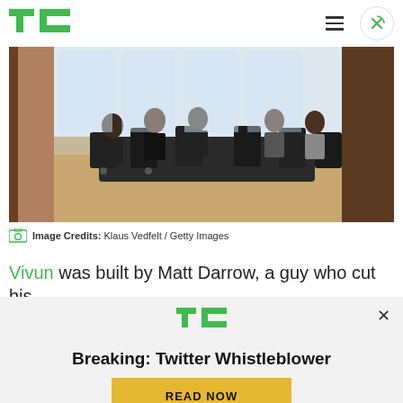TechCrunch logo and navigation
[Figure (photo): People sitting around a conference table in a meeting room with large windows and wooden floors]
Image Credits: Klaus Vedfelt / Getty Images
Vivun was built by Matt Darrow, a guy who cut his
[Figure (other): TechCrunch popup ad overlay with logo, headline 'Breaking: Twitter Whistleblower', and a yellow READ NOW button]